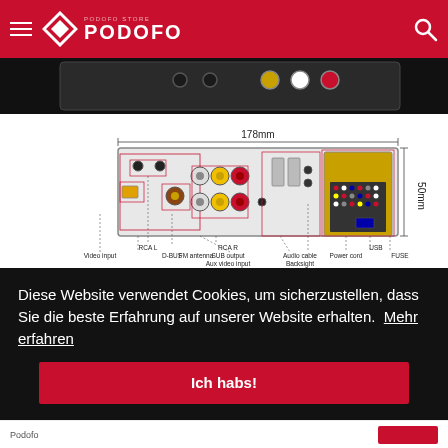PODOFO
[Figure (photo): Back panel of car stereo unit showing connector ports]
[Figure (engineering-diagram): Technical diagram of car stereo back panel showing labeled connectors: Video input, RCA L, D-BUS, FM antenna, RCA R, SUB output, Aux video input, Audio cable, Backsight, Power cord, USB, FUSE. Dimensions: 178mm width, 50mm height.]
Diese Website verwendet Cookies, um sicherzustellen, dass Sie die beste Erfahrung auf unserer Website erhalten.  Mehr erfahren
Ich habs!